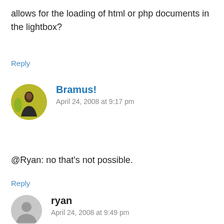allows for the loading of html or php documents in the lightbox?
Reply
Bramus!
April 24, 2008 at 9:17 pm
[Figure (photo): Avatar photo of Bramus, showing a person speaking on stage with a yellow/green background]
@Ryan: no that’s not possible.
Reply
[Figure (illustration): Generic gray avatar icon for user ryan]
ryan
April 24, 2008 at 9:49 pm